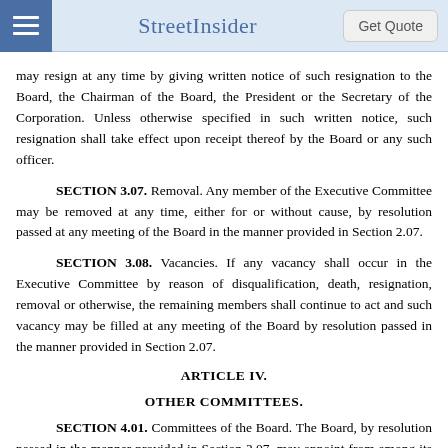StreetInsider | Get Quote
may resign at any time by giving written notice of such resignation to the Board, the Chairman of the Board, the President or the Secretary of the Corporation. Unless otherwise specified in such written notice, such resignation shall take effect upon receipt thereof by the Board or any such officer.
SECTION 3.07. Removal. Any member of the Executive Committee may be removed at any time, either for or without cause, by resolution passed at any meeting of the Board in the manner provided in Section 2.07.
SECTION 3.08. Vacancies. If any vacancy shall occur in the Executive Committee by reason of disqualification, death, resignation, removal or otherwise, the remaining members shall continue to act and such vacancy may be filled at any meeting of the Board by resolution passed in the manner provided in Section 2.07.
ARTICLE IV.
OTHER COMMITTEES.
SECTION 4.01. Committees of the Board. The Board, by resolution passed in the manner provided in Section 2.07, may appoint from among its members one or more additional committees, each of which shall have at least two members and each of which, to the extent provided in the resolution, shall have and may exercise all the authority of the Board except as otherwise provided by statute. Such committee or committees shall have such name or names as may be determined from time to time by resolution adopted by the